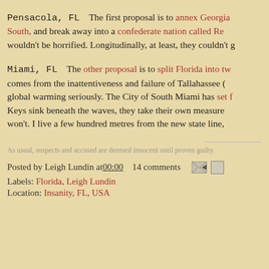Pensacola, FL    The first proposal is to annex Georgia South, and break away into a confederate nation called Re... wouldn't be horrified. Longitudinally, at least, they couldn't g...
Miami, FL    The other proposal is to split Florida into tw... comes from the inattentiveness and failure of Tallahassee (... global warming seriously. The City of South Miami has set f... Keys sink beneath the waves, they take their own measure... won't. I live a few hundred metres from the new state line, ...
As usual, suspects and accused are deemed innocent until proven guilty.
Posted by Leigh Lundin at 00:00    14 comments
Labels: Florida, Leigh Lundin
Location: Insanity, FL, USA